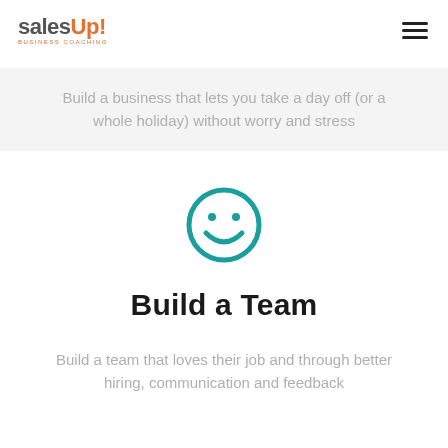salesUp! BUSINESS COACHING
Build a business that lets you take a day off (or a whole holiday) without worry and stress
[Figure (illustration): Teal smiley face icon — circle with two dot eyes and a curved smile]
Build a Team
Build a team that loves their job and through better hiring, communication and feedback